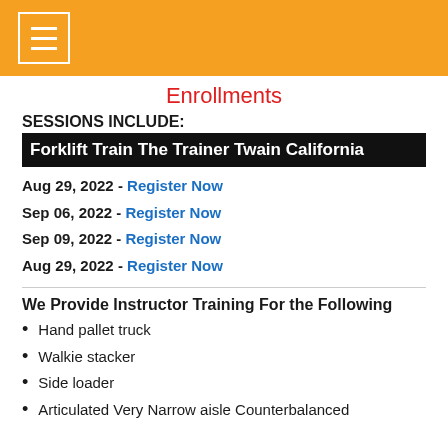Enrollments
SESSIONS INCLUDE:
Forklift Train The Trainer Twain California
Aug 29, 2022 - Register Now
Sep 06, 2022 - Register Now
Sep 09, 2022 - Register Now
Aug 29, 2022 - Register Now
We Provide Instructor Training For the Following
Hand pallet truck
Walkie stacker
Side loader
Articulated Very Narrow aisle Counterbalanced